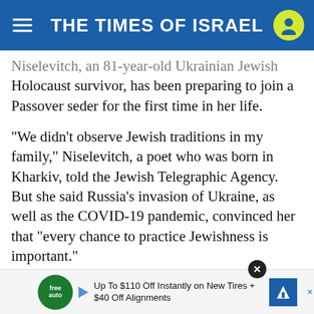THE TIMES OF ISRAEL
Niselevitch, an 81-year-old Ukrainian Jewish Holocaust survivor, has been preparing to join a Passover seder for the first time in her life.
“We didn’t observe Jewish traditions in my family,” Niselevitch, a poet who was born in Kharkiv, told the Jewish Telegraphic Agency. But she said Russia’s invasion of Ukraine, as well as the COVID-19 pandemic, convinced her that “every chance to practice Jewishness is important.”
Niselevitch, who will celebrate Passover at an event organized by the American Jewish Joint Distribution Committee, or JDC, is among the thousands of Ukrain... the Jewish... in
Up To $110 Off Instantly on New Tires + $40 Off Alignments